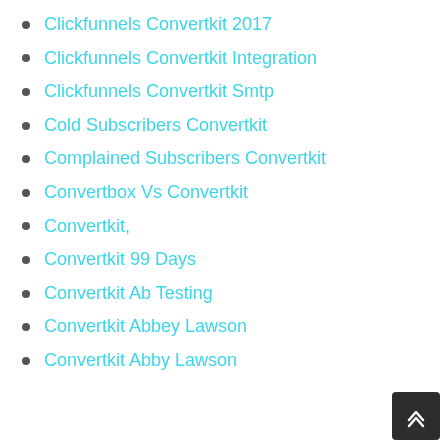Clickfunnels Convertkit 2017
Clickfunnels Convertkit Integration
Clickfunnels Convertkit Smtp
Cold Subscribers Convertkit
Complained Subscribers Convertkit
Convertbox Vs Convertkit
Convertkit,
Convertkit 99 Days
Convertkit Ab Testing
Convertkit Abbey Lawson
Convertkit Abby Lawson